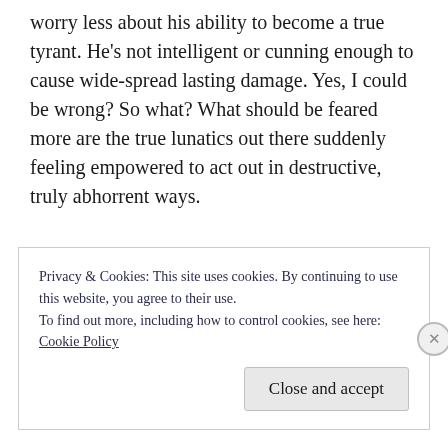worry less about his ability to become a true tyrant. He's not intelligent or cunning enough to cause wide-spread lasting damage. Yes, I could be wrong? So what? What should be feared more are the true lunatics out there suddenly feeling empowered to act out in destructive, truly abhorrent ways.
Privacy & Cookies: This site uses cookies. By continuing to use this website, you agree to their use.
To find out more, including how to control cookies, see here:
Cookie Policy